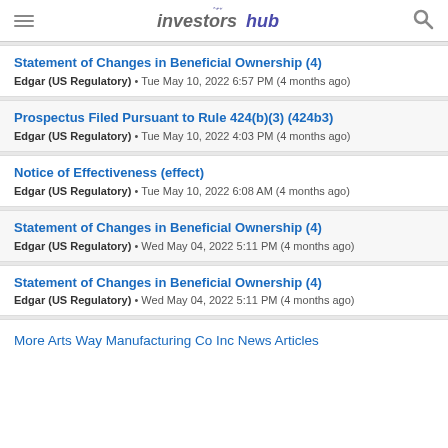InvestorsHub
Statement of Changes in Beneficial Ownership (4)
Edgar (US Regulatory) • Tue May 10, 2022 6:57 PM (4 months ago)
Prospectus Filed Pursuant to Rule 424(b)(3) (424b3)
Edgar (US Regulatory) • Tue May 10, 2022 4:03 PM (4 months ago)
Notice of Effectiveness (effect)
Edgar (US Regulatory) • Tue May 10, 2022 6:08 AM (4 months ago)
Statement of Changes in Beneficial Ownership (4)
Edgar (US Regulatory) • Wed May 04, 2022 5:11 PM (4 months ago)
Statement of Changes in Beneficial Ownership (4)
Edgar (US Regulatory) • Wed May 04, 2022 5:11 PM (4 months ago)
More Arts Way Manufacturing Co Inc News Articles